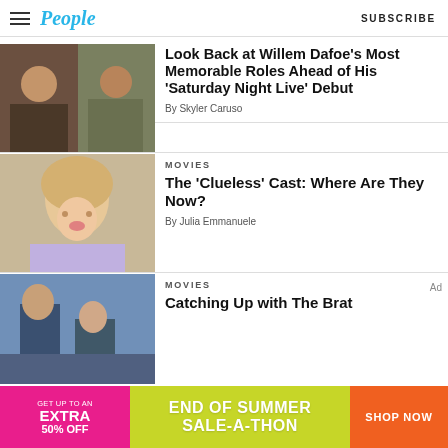People — SUBSCRIBE
[Figure (photo): Collage of Willem Dafoe in various movie roles]
Look Back at Willem Dafoe's Most Memorable Roles Ahead of His 'Saturday Night Live' Debut
By Skyler Caruso
[Figure (photo): Young blonde woman from Clueless film]
MOVIES
The 'Clueless' Cast: Where Are They Now?
By Julia Emmanuele
[Figure (photo): Two people from a movie scene with blue background]
MOVIES
Catching Up with The Brat
[Figure (infographic): End of Summer Sale-A-Thon advertisement banner with pink, yellow-green and orange sections]